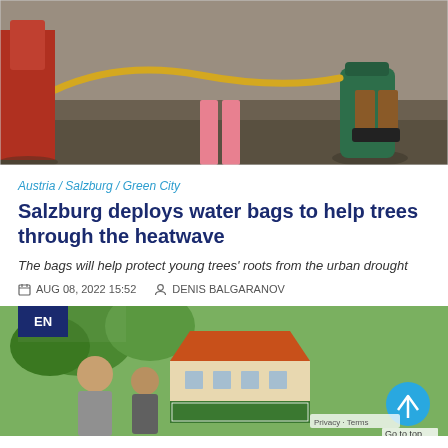[Figure (photo): Photo showing people with a yellow hose and a green water bag placed around a tree, on gravelly ground]
Austria / Salzburg / Green City
Salzburg deploys water bags to help trees through the heatwave
The bags will help protect young trees' roots from the urban drought
AUG 08, 2022 15:52   DENIS BALGARANOV
[Figure (photo): Photo of people outdoors near a building with trees and a banner, with an EN language badge overlay and a Go to top button]